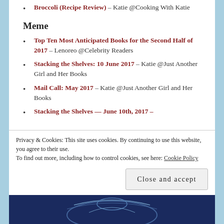Broccoli (Recipe Review) – Katie @Cooking With Katie
Meme
Top Ten Most Anticipated Books for the Second Half of 2017 – Lenoreo @Celebrity Readers
Stacking the Shelves: 10 June 2017 – Katie @Just Another Girl and Her Books
Mail Call: May 2017 – Katie @Just Another Girl and Her Books
Stacking the Shelves — June 10th, 2017 –
Privacy & Cookies: This site uses cookies. By continuing to use this website, you agree to their use. To find out more, including how to control cookies, see here: Cookie Policy
[Figure (illustration): Dark blue decorative banner image at the bottom of the page]